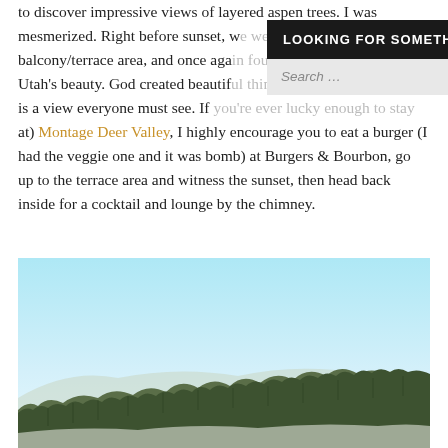to discover impressive views of layered aspen trees. I was mesmerized. Right before sunset, w[e went out to the] balcony/terrace area, and once aga[in found myself in awe of] Utah's beauty. God created beautif[ul things on this earth and] this is a view everyone must see. If [you're ever lucky enough to stay at) Montage Deer Valley, I highly encourage you to eat a burger (I had the veggie one and it was bomb) at Burgers & Bourbon, go up to the terrace area and witness the sunset, then head back inside for a cocktail and lounge by the chimney.
[Figure (screenshot): Website dropdown overlay showing 'LOOKING FOR SOMETHING?' header in dark background with a search bar and gold Search button below.]
[Figure (photo): Landscape photograph showing a pale blue sky above a hillside covered with dense aspen trees, mostly bare with some evergreens, taken at Deer Valley area.]